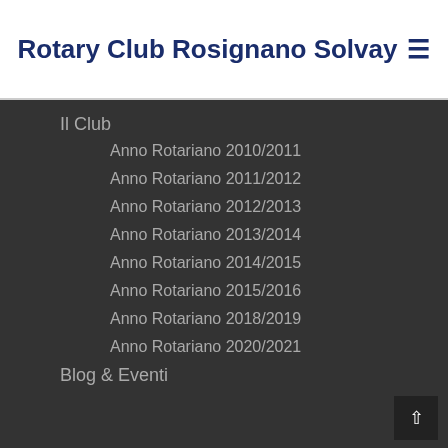Rotary Club Rosignano Solvay ≡
Il Club
Anno Rotariano 2010/2011
Anno Rotariano 2011/2012
Anno Rotariano 2012/2013
Anno Rotariano 2013/2014
Anno Rotariano 2014/2015
Anno Rotariano 2015/2016
Anno Rotariano 2018/2019
Anno Rotariano 2020/2021
Blog & Eventi